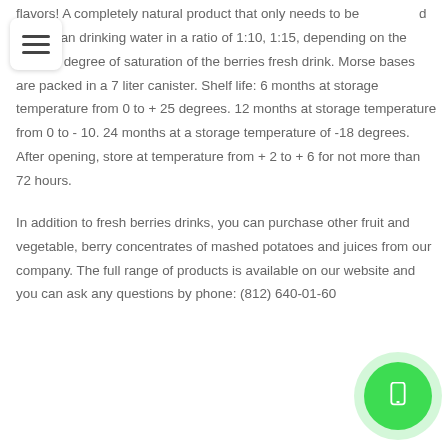flavors! A completely natural product that only needs to be mixed with clean drinking water in a ratio of 1:10, 1:15, depending on the desired degree of saturation of the berries fresh drink. Morse bases are packed in a 7 liter canister. Shelf life: 6 months at storage temperature from 0 to + 25 degrees. 12 months at storage temperature from 0 to - 10. 24 months at a storage temperature of -18 degrees. After opening, store at temperature from + 2 to + 6 for not more than 72 hours.

In addition to fresh berries drinks, you can purchase other fruit and vegetable, berry concentrates of mashed potatoes and juices from our company. The full range of products is available on our website and you can ask any questions by phone: (812) 640-01-60